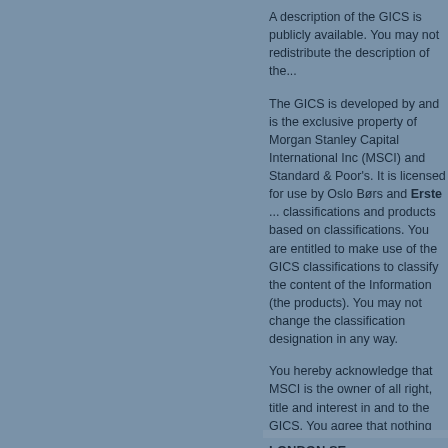A description of the GICS is publicly available. You may not redistribute the description of the...
The GICS is developed by and is the exclusive property of Morgan Stanley Capital International Inc (MSCI) and Standard & Poor's. It is licensed for use by Oslo Børs and Erste ... classifications and products based on classified information. You are entitled to make use of the GICS classifications to classify the content of the Information (the products). You may not change the classification designation in any way.
You hereby acknowledge that MSCI is the owner of all right, title and interest in and to the GICS. You agree that nothing herein transfers any title or interest in or to the GICS to you. You may only use the GICS as expressly provided herein.
Neither MSCI nor S&P nor any other party makes any warranty or representations with respect to this information (or any use or application thereof), and MSCI and S&P and any other party expressly disclaim originality, accuracy, completeness merchantability or fitness with respect to any of this information. The Eq... sold or promoted by MSCI or S&P.
LONDON SE
DISCLAIMER
The information is supplied and owned by...